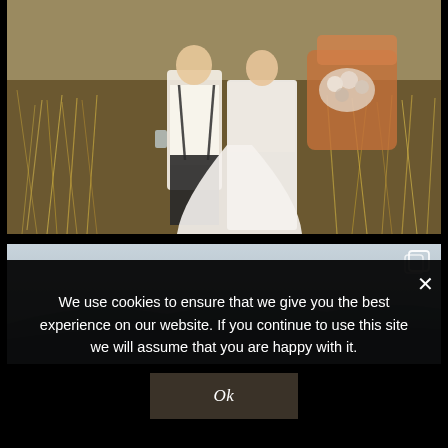[Figure (photo): Wedding couple sitting in tall golden grass field. Groom in white shirt with suspenders holding a glass, bride in white lace wedding dress with bouquet of flowers. An orange/rust colored chair or sofa visible behind them.]
[Figure (photo): Misty/foggy landscape photo with gray sky and faint silhouette of hills or mountains in background. Multi-photo stack icon visible in top right corner indicating this is part of a carousel.]
We use cookies to ensure that we give you the best experience on our website. If you continue to use this site we will assume that you are happy with it.
Ok